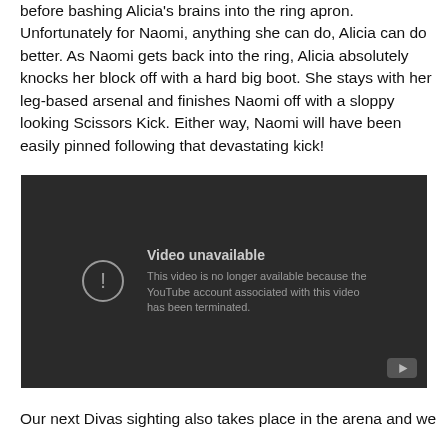before bashing Alicia's brains into the ring apron. Unfortunately for Naomi, anything she can do, Alicia can do better. As Naomi gets back into the ring, Alicia absolutely knocks her block off with a hard big boot. She stays with her leg-based arsenal and finishes Naomi off with a sloppy looking Scissors Kick. Either way, Naomi will have been easily pinned following that devastating kick!
[Figure (screenshot): Embedded YouTube video player showing a 'Video unavailable' error message. The message states: 'This video is no longer available because the YouTube account associated with this video has been terminated.' A circular exclamation mark icon is shown to the left of the text. A YouTube logo button is in the bottom-right corner.]
Our next Divas sighting also takes place in the arena and we